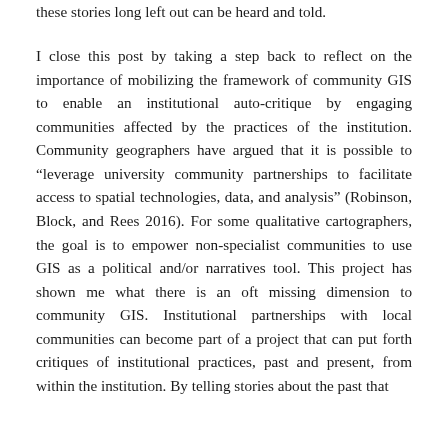these stories long left out can be heard and told.
I close this post by taking a step back to reflect on the importance of mobilizing the framework of community GIS to enable an institutional auto-critique by engaging communities affected by the practices of the institution. Community geographers have argued that it is possible to “leverage university community partnerships to facilitate access to spatial technologies, data, and analysis” (Robinson, Block, and Rees 2016). For some qualitative cartographers, the goal is to empower non-specialist communities to use GIS as a political and/or narratives tool. This project has shown me what there is an oft missing dimension to community GIS. Institutional partnerships with local communities can become part of a project that can put forth critiques of institutional practices, past and present, from within the institution. By telling stories about the past that